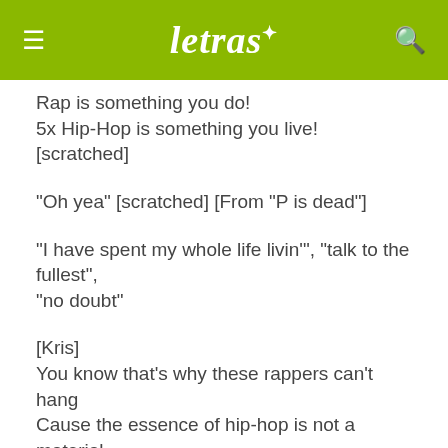letras
Rap is something you do!
5x Hip-Hop is something you live! [scratched]
"Oh yea" [scratched] [From "P is dead"]
"I have spent my whole life livin'", "talk to the fullest", "no doubt"
[Kris]
You know that's why these rappers can't hang
Cause the essence of hip-hop is not a material thang
They so careless, hip-hop is in a {?} we give
Rap we do, hip-hop we live
How many times I gotta say it? How the radio ain't